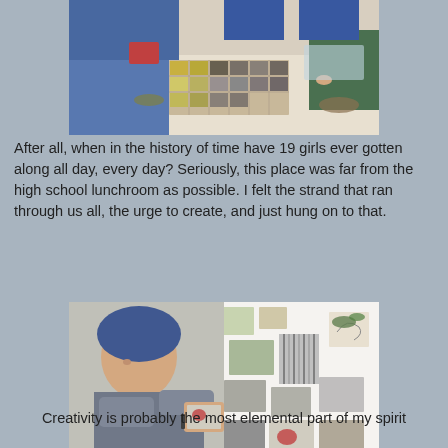[Figure (photo): People sitting around a table with fabric swatches, natural materials, and craft supplies on a white table]
After all, when in the history of time have 19 girls ever gotten along all day, every day? Seriously, this place was far from the high school lunchroom as possible. I felt the strand that ran through us all, the urge to create, and just hung on to that.
[Figure (photo): A woman wearing a blue head wrap and gray top, holding up artwork samples in front of a white wall covered with various fabric and paper samples]
Creativity is probably the most elemental part of my spirit